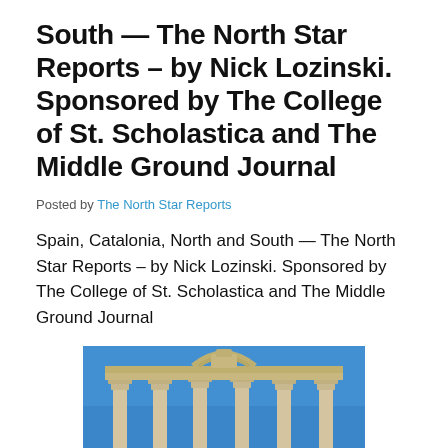South — The North Star Reports – by Nick Lozinski. Sponsored by The College of St. Scholastica and The Middle Ground Journal
Posted by The North Star Reports
Spain, Catalonia, North and South — The North Star Reports – by Nick Lozinski. Sponsored by The College of St. Scholastica and The Middle Ground Journal
[Figure (photo): Photograph of ancient Roman temple ruins with Corinthian columns against a bright blue sky]